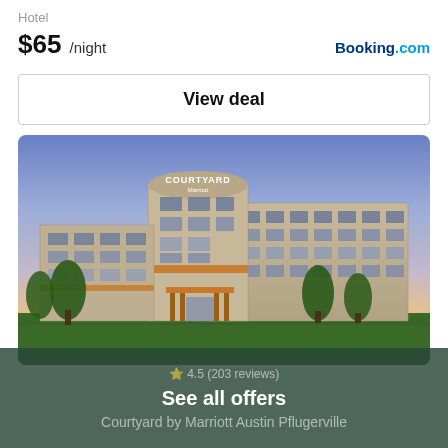Hotel
$65 /night
Booking.com
View deal
[Figure (photo): Exterior photo of a Courtyard by Marriott hotel building at dusk, with a purplish-blue sky, orange-accented entrance canopy, surrounded by trees and a green lawn.]
See all offers
4.5 (203 reviews)
Courtyard by Marriott Austin Pflugerville